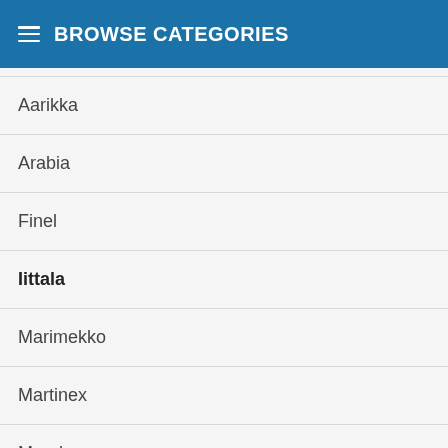BROWSE CATEGORIES
Aarikka
Arabia
Finel
Iittala
Marimekko
Martinex
Muurla
Nuutajärvi
Pentik